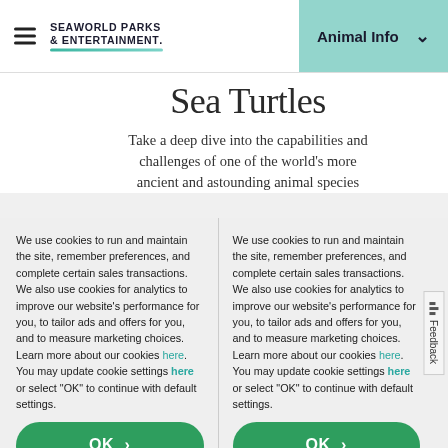SeaWorld Parks & Entertainment | Animal Info
Sea Turtles
Take a deep dive into the capabilities and challenges of one of the world's more ancient and astounding animal species
We use cookies to run and maintain the site, remember preferences, and complete certain sales transactions. We also use cookies for analytics to improve our website's performance for you, to tailor ads and offers for you, and to measure marketing choices. Learn more about our cookies here. You may update cookie settings here or select "OK" to continue with default settings.
We use cookies to run and maintain the site, remember preferences, and complete certain sales transactions. We also use cookies for analytics to improve our website's performance for you, to tailor ads and offers for you, and to measure marketing choices. Learn more about our cookies here. You may update cookie settings here or select "OK" to continue with default settings.